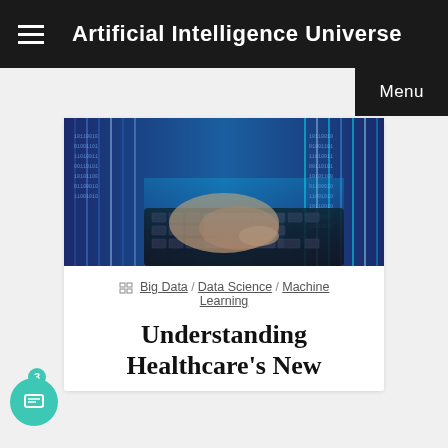Artificial Intelligence Universe
[Figure (screenshot): Website navigation menu button labeled 'Menu' on black background, top right corner]
[Figure (photo): Person's hands typing on a laptop keyboard with digital data streams and binary code overlaid in blue tones]
Big Data / Data Science / Machine Learning
Understanding Healthcare's New